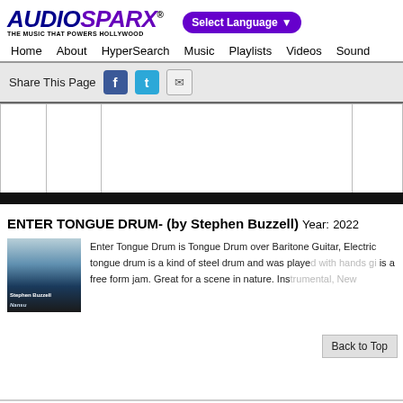AUDIOSPARX - THE MUSIC THAT POWERS HOLLYWOOD
[Figure (logo): AudioSparx logo with tagline THE MUSIC THAT POWERS HOLLYWOOD]
Select Language
Home  About  HyperSearch  Music  Playlists  Videos  Sound
Share This Page
[Figure (infographic): Share icons: Facebook, Twitter, Email]
[Figure (other): Table/grid area with columns and rows, followed by a black bar]
ENTER TONGUE DRUM - (by Stephen Buzzell)  Year: 2022
[Figure (photo): Album cover photo for Stephen Buzzell - Enter Tongue Drum, dark blue tones with rocky landscape]
Enter Tongue Drum is Tongue Drum over Baritone Guitar, Electric tongue drum is a kind of steel drum and was played with hands gi is a free form jam. Great for a scene in nature. Instrumental, New
Back to Top